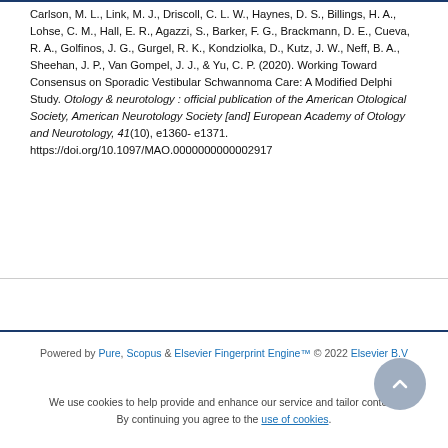Carlson, M. L., Link, M. J., Driscoll, C. L. W., Haynes, D. S., Billings, H. A., Lohse, C. M., Hall, E. R., Agazzi, S., Barker, F. G., Brackmann, D. E., Cueva, R. A., Golfinos, J. G., Gurgel, R. K., Kondziolka, D., Kutz, J. W., Neff, B. A., Sheehan, J. P., Van Gompel, J. J., & Yu, C. P. (2020). Working Toward Consensus on Sporadic Vestibular Schwannoma Care: A Modified Delphi Study. Otology & neurotology : official publication of the American Otological Society, American Neurotology Society [and] European Academy of Otology and Neurotology, 41(10), e1360-e1371. https://doi.org/10.1097/MAO.0000000000002917
Powered by Pure, Scopus & Elsevier Fingerprint Engine™ © 2022 Elsevier B.V
We use cookies to help provide and enhance our service and tailor content. By continuing you agree to the use of cookies.